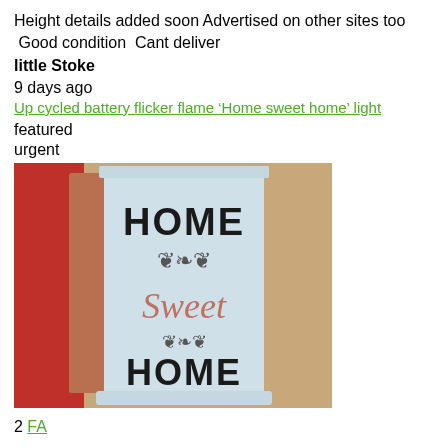Height details added soon Advertised on other sites too  Good condition  Cant deliver
little Stoke
9 days ago
Up cycled battery flicker flame 'Home sweet home' light
featured
urgent
[Figure (photo): A tall white decorative lantern/light with 'Home Sweet Home' text and ornamental flourishes, placed on a wooden surface with a red curtain in background]
2 FA